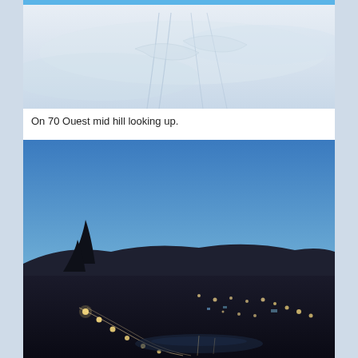[Figure (photo): Snow-covered ski slope with ski tracks and wind patterns, view looking up the hill from mid-slope on 70 Ouest.]
On 70 Ouest mid hill looking up.
[Figure (photo): Dusk panoramic view from mid-hill looking down at a town lit up with street and building lights, against a blue-to-orange twilight sky with dark hills on the horizon.]